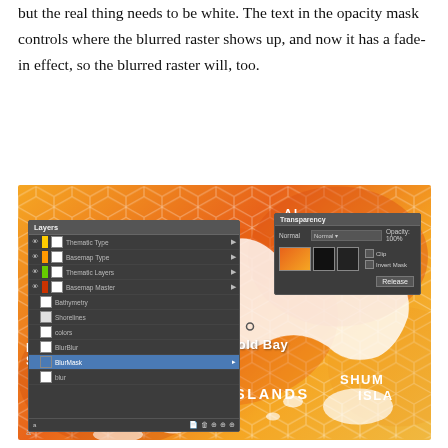but the real thing needs to be white. The text in the opacity mask controls where the blurred raster shows up, and now it has a fade-in effect, so the blurred raster will, too.
[Figure (screenshot): Screenshot showing Adobe Illustrator with a Layers panel and Transparency panel open over an orange hexagonal map of the Alaska Peninsula area, with 'Cold Bay' labeled, and 'SANAK ISLANDS' and 'SHUMAGIN ISLA' visible.]
And we're all set! Note that doing this in Illustrator tends to slow the program down a bit, and lead to large file sizes, so I recommend saving it for the end when you're finished up the rest of the map. And the labels in